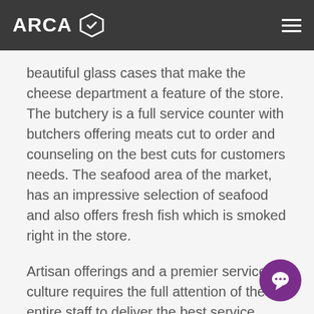ARCA
beautiful glass cases that make the cheese department a feature of the store. The butchery is a full service counter with butchers offering meats cut to order and counseling on the best cuts for customers needs. The seafood area of the market, has an impressive selection of seafood and also offers fresh fish which is smoked right in the store.
Artisan offerings and a premier service culture requires the full attention of the entire staff to deliver the best service